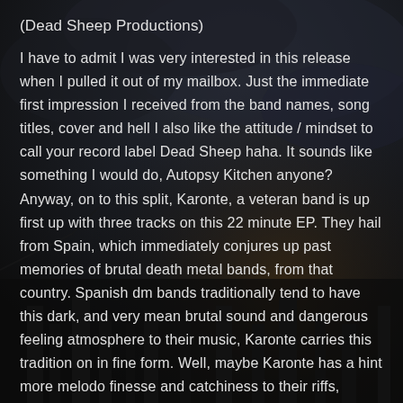(Dead Sheep Productions)
I have to admit I was very interested in this release when I pulled it out of my mailbox. Just the immediate first impression I received from the band names, song titles, cover and hell I also like the attitude / mindset to call your record label Dead Sheep haha. It sounds like something I would do, Autopsy Kitchen anyone? Anyway, on to this split, Karonte, a veteran band is up first up with three tracks on this 22 minute EP. They hail from Spain, which immediately conjures up past memories of brutal death metal bands, from that country. Spanish dm bands traditionally tend to have this dark, and very mean brutal sound and dangerous feeling atmosphere to their music, Karonte carries this tradition on in fine form. Well, maybe Karonte has a hint more melodo finesse and catchiness to their riffs, comparing to many